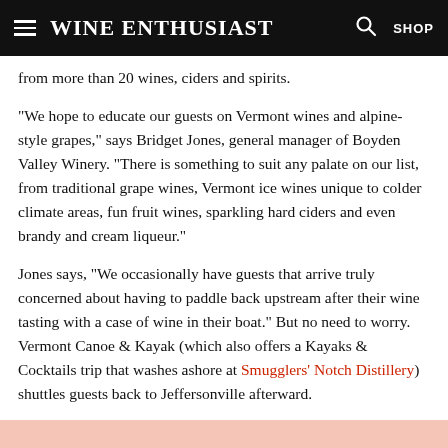Wine Enthusiast  SHOP
from more than 20 wines, ciders and spirits.
“We hope to educate our guests on Vermont wines and alpine-style grapes,” says Bridget Jones, general manager of Boyden Valley Winery. “There is something to suit any palate on our list, from traditional grape wines, Vermont ice wines unique to colder climate areas, fun fruit wines, sparkling hard ciders and even brandy and cream liqueur.”
Jones says, “We occasionally have guests that arrive truly concerned about having to paddle back upstream after their wine tasting with a case of wine in their boat.” But no need to worry. Vermont Canoe & Kayak (which also offers a Kayaks & Cocktails trip that washes ashore at Smugglers’ Notch Distillery) shuttles guests back to Jeffersonville afterward.
[Figure (photo): Pink/salmon colored image strip at bottom of page]